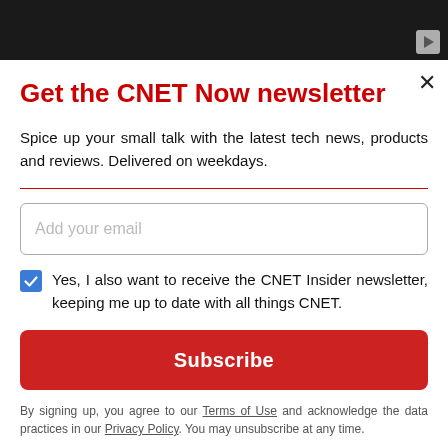[Figure (screenshot): Dark video player bar at top of page]
Get the CNET Now newsletter
Spice up your small talk with the latest tech news, products and reviews. Delivered on weekdays.
Add your email (input field placeholder)
Yes, I also want to receive the CNET Insider newsletter, keeping me up to date with all things CNET.
Subscribe (button)
By signing up, you agree to our Terms of Use and acknowledge the data practices in our Privacy Policy. You may unsubscribe at any time.